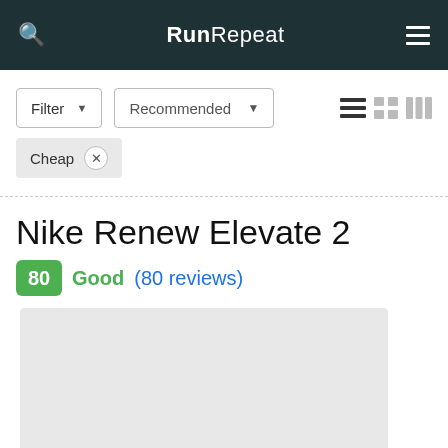RunRepeat
Filter ▾  Recommended ▾
Cheap ×
Nike Renew Elevate 2
80  Good  (80 reviews)
[Figure (photo): Placeholder image area for Nike Renew Elevate 2 shoe product photo]